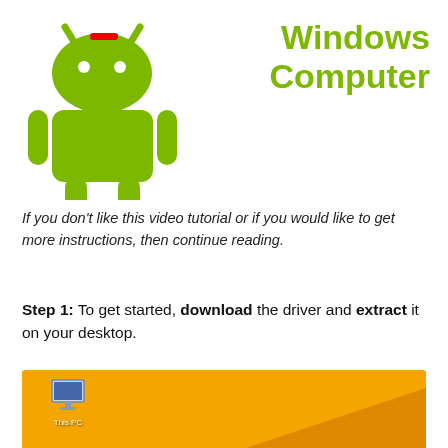Windows Computer
If you don't like this video tutorial or if you would like to get more instructions, then continue reading.
Step 1: To get started, download the driver and extract it on your desktop.
[Figure (screenshot): Windows desktop screenshot with orange background showing This PC icon, Recycle Bin icon, Android zip file icon, and Android UC OK Driver folder icon]